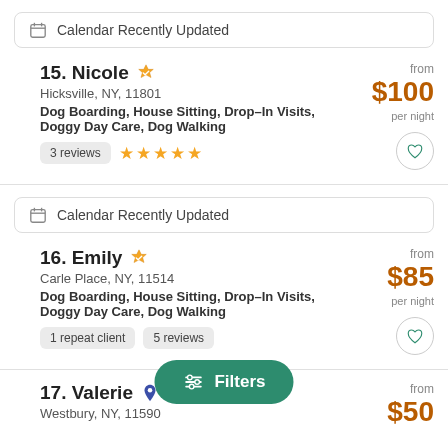Calendar Recently Updated
15. Nicole — Hicksville, NY, 11801 — Dog Boarding, House Sitting, Drop-In Visits, Doggy Day Care, Dog Walking — 3 reviews — 5 stars — from $100 per night
Calendar Recently Updated
16. Emily — Carle Place, NY, 11514 — Dog Boarding, House Sitting, Drop-In Visits, Doggy Day Care, Dog Walking — 1 repeat client — 5 reviews — from $85 per night
Filters
17. Valerie — Westbury, NY, 11590 — from $50